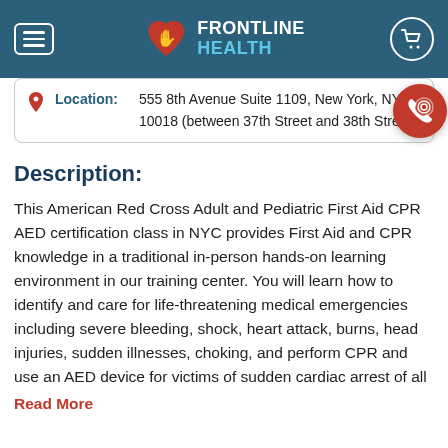Frontline Health
| Icon | Label | Value |
| --- | --- | --- |
| 📍 | Location: | 555 8th Avenue Suite 1109, New York, NY 10018 (between 37th Street and 38th Street) |
Description:
This American Red Cross Adult and Pediatric First Aid CPR AED certification class in NYC provides First Aid and CPR knowledge in a traditional in-person hands-on learning environment in our training center. You will learn how to identify and care for life-threatening medical emergencies including severe bleeding, shock, heart attack, burns, head injuries, sudden illnesses, choking, and perform CPR and use an AED device for victims of sudden cardiac arrest of all
Read More